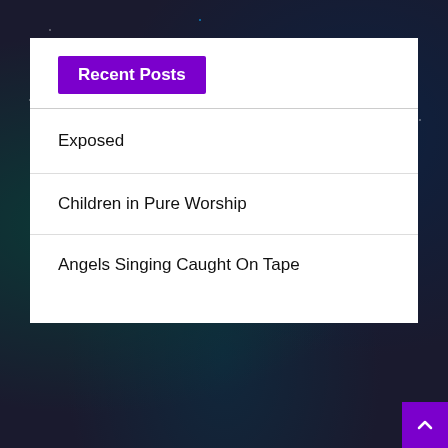Recent Posts
Exposed
Children in Pure Worship
Angels Singing Caught On Tape
Pages
Contact Forms and Prayers
Pure Worship